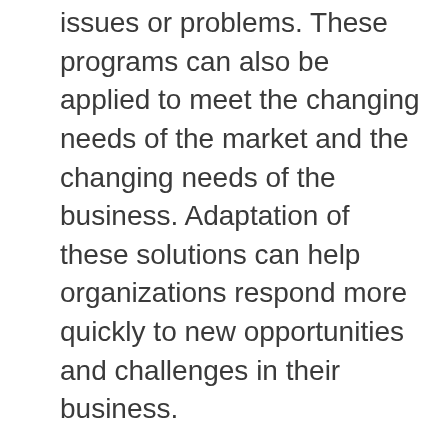issues or problems. These programs can also be applied to meet the changing needs of the market and the changing needs of the business. Adaptation of these solutions can help organizations respond more quickly to new opportunities and challenges in their business.